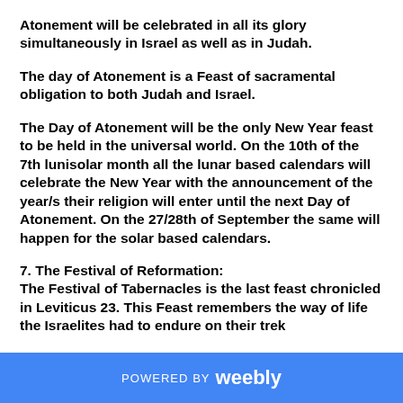Atonement will be celebrated in all its glory simultaneously in Israel as well as in Judah.
The day of Atonement is a Feast of sacramental obligation to both Judah and Israel.
The Day of Atonement will be the only New Year feast to be held in the universal world. On the 10th of the 7th lunisolar month all the lunar based calendars will celebrate the New Year with the announcement of the year/s their religion will enter until the next Day of Atonement. On the 27/28th of September the same will happen for the solar based calendars.
7. The Festival of Reformation:
The Festival of Tabernacles is the last feast chronicled in Leviticus 23. This Feast remembers the way of life the Israelites had to endure on their trek
POWERED BY weebly